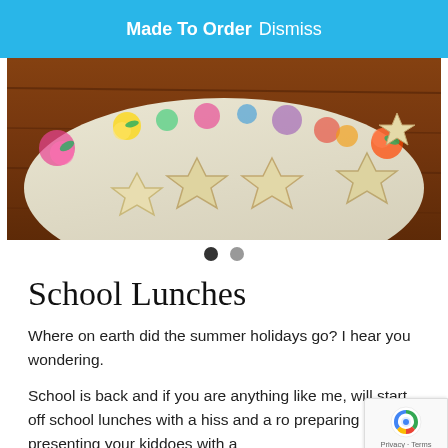Made To Order Dismiss
[Figure (photo): A floral plate with star-shaped crackers/cookies on a dark wooden table, partially cropped at top]
School Lunches
Where on earth did the summer holidays go? I hear you wondering.
School is back and if you are anything like me, will start off school lunches with a hiss and a ro preparing and presenting your kiddoes with a